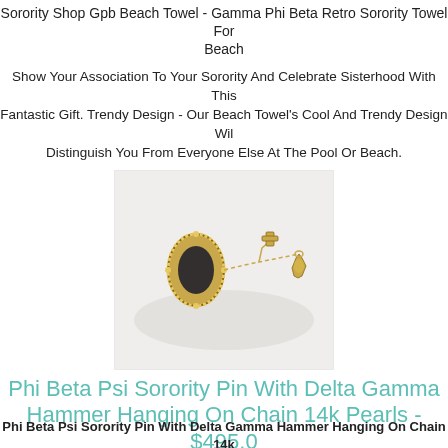Sorority Shop Gpb Beach Towel - Gamma Phi Beta Retro Sorority Towel For Beach
Show Your Association To Your Sorority And Celebrate Sisterhood With This Fantastic Gift. Trendy Design - Our Beach Towel's Cool And Trendy Design Will Distinguish You From Everyone Else At The Pool Or Beach.
[Figure (photo): Gold jewelry pin with chain and hanging ornament, photographed on white background]
Phi Beta Psi Sorority Pin With Delta Gamma Hammer Hanging On Chain 14k Pearls - $495.0
Phi Beta Psi Sorority Pin With Delta Gamma Hammer Hanging On Chain 14k Pearls